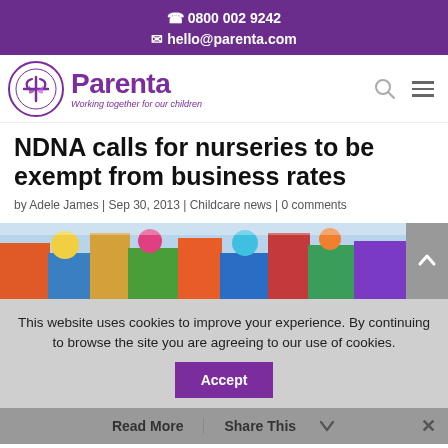☎ 0800 002 9242
✉ hello@parenta.com
[Figure (logo): Parenta logo with circular icon and tagline 'Working together for our children']
NDNA calls for nurseries to be exempt from business rates
by Adele James | Sep 30, 2013 | Childcare news | 0 comments
[Figure (photo): Photo of colorful children's toys and building blocks in a nursery setting]
This website uses cookies to improve your experience. By continuing to browse the site you are agreeing to our use of cookies.
Read More | Share This